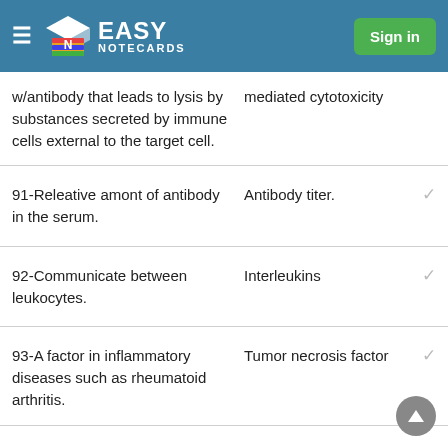Easy Notecards — Sign in
w/antibody that leads to lysis by substances secreted by immune cells external to the target cell.
mediated cytotoxicity
91-Releative amont of antibody in the serum.
Antibody titer.
92-Communicate between leukocytes.
Interleukins
93-A factor in inflammatory diseases such as rheumatoid arthritis.
Tumor necrosis factor